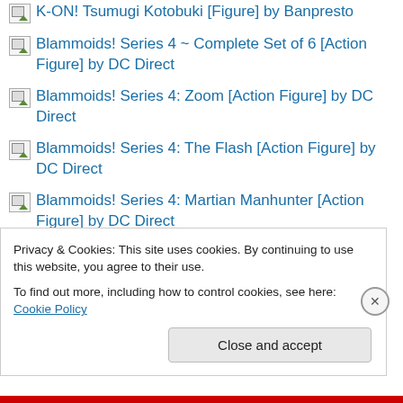K-ON! Tsumugi Kotobuki [Figure] by Banpresto
Blammoids! Series 4 ~ Complete Set of 6 [Action Figure] by DC Direct
Blammoids! Series 4: Zoom [Action Figure] by DC Direct
Blammoids! Series 4: The Flash [Action Figure] by DC Direct
Blammoids! Series 4: Martian Manhunter [Action Figure] by DC Direct
Blammoids! Series 4: Hawkman [Action Figure] by DC Direct
Privacy & Cookies: This site uses cookies. By continuing to use this website, you agree to their use.
To find out more, including how to control cookies, see here: Cookie Policy